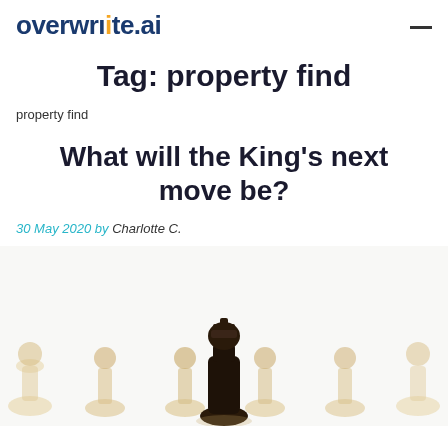overwrite.ai
Tag: property find
property find
What will the King's next move be?
30 May 2020 by Charlotte C.
[Figure (photo): A dark chess king piece in focus surrounded by blurred light-colored pawn pieces in the background, on a white surface.]